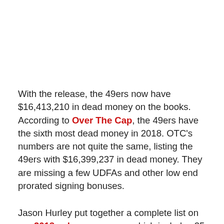With the release, the 49ers now have $16,413,210 in dead money on the books. According to Over The Cap, the 49ers have the sixth most dead money in 2018. OTC's numbers are not quite the same, listing the 49ers with $16,399,237 in dead money. They are missing a few UDFAs and other low end prorated signing bonuses.
Jason Hurley put together a complete list on our 2018 salary cap page, which includes 25 players. You can